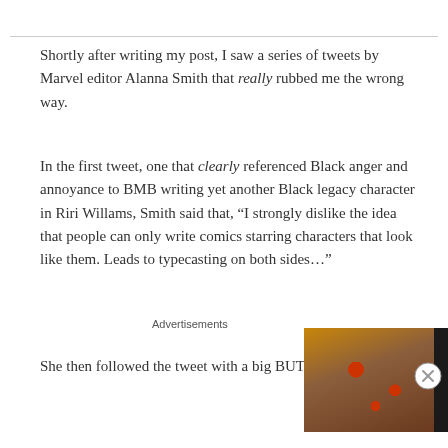Shortly after writing my post, I saw a series of tweets by Marvel editor Alanna Smith that really rubbed me the wrong way.
In the first tweet, one that clearly referenced Black anger and annoyance to BMB writing yet another Black legacy character in Riri Willams, Smith said that, “I strongly dislike the idea that people can only write comics starring characters that look like them. Leads to typecasting on both sides…”
She then followed the tweet with a big BUT (literally:
[Figure (advertisement): Seamless food delivery advertisement with pizza image, Seamless red logo button, and ORDER NOW button on dark background]